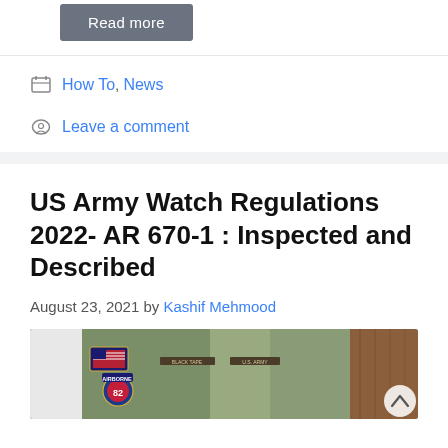[Figure (screenshot): Read more button - dark gray rounded button with white text]
How To, News
Leave a comment
US Army Watch Regulations 2022- AR 670-1 : Inspected and Described
August 23, 2021 by Kashif Mehmood
[Figure (photo): US Army soldier in camouflage uniform with American flag patch and 82nd Airborne Division patch visible]